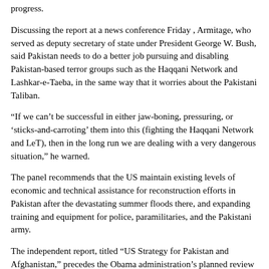progress.
Discussing the report at a news conference Friday , Armitage, who served as deputy secretary of state under President George W. Bush, said Pakistan needs to do a better job pursuing and disabling Pakistan-based terror groups such as the Haqqani Network and Lashkar-e-Taeba, in the same way that it worries about the Pakistani Taliban.
“If we can’t be successful in either jaw-boning, pressuring, or ‘sticks-and-carroting’ them into this (fighting the Haqqani Network and LeT), then in the long run we are dealing with a very dangerous situation,” he warned.
The panel recommends that the US maintain existing levels of economic and technical assistance for reconstruction efforts in Pakistan after the devastating summer floods there, and expanding training and equipment for police, paramilitaries, and the Pakistani army.
The independent report, titled “US Strategy for Pakistan and Afghanistan,” precedes the Obama administration’s planned review of US policy in Afghanistan, due in December. The task force panel asks whether the “cloudy picture and high costs” should push the United States to “downsize its ambitions and reduce its military presence in Afghanistan.”